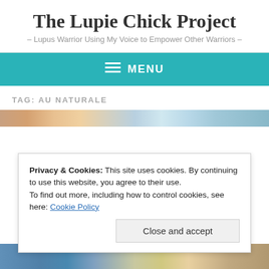The Lupie Chick Project
– Lupus Warrior Using My Voice to Empower Other Warriors –
≡ MENU
TAG: AU NATURALE
[Figure (photo): Partial photo strip visible at top of content area]
Privacy & Cookies: This site uses cookies. By continuing to use this website, you agree to their use.
To find out more, including how to control cookies, see here: Cookie Policy
Close and accept
[Figure (photo): Partial photo strip visible at bottom of page]